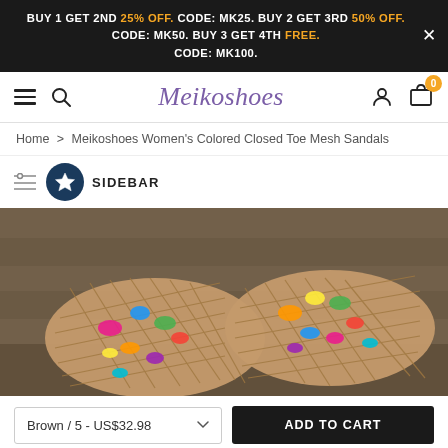BUY 1 GET 2ND 25% OFF. CODE: MK25. BUY 2 GET 3RD 50% OFF. CODE: MK50. BUY 3 GET 4TH FREE. CODE: MK100.
[Figure (screenshot): Meikoshoes website navigation bar with hamburger menu, search icon, logo 'Meikoshoes' in purple italic script, user account icon, and shopping cart with orange badge showing 0]
Home > Meikoshoes Women's Colored Closed Toe Mesh Sandals
SIDEBAR
[Figure (photo): Close-up top-down view of two colorful closed toe mesh sandals with woven pattern showing multicolored fabric (pink, blue, green, yellow, orange) through diamond-shaped cutouts on a wooden floor background]
Brown / 5 - US$32.98
ADD TO CART